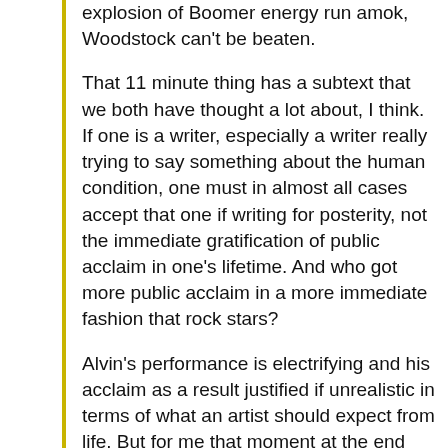explosion of Boomer energy run amok, Woodstock can't be beaten.
That 11 minute thing has a subtext that we both have thought a lot about, I think. If one is a writer, especially a writer really trying to say something about the human condition, one must in almost all cases accept that one if writing for posterity, not the immediate gratification of public acclaim in one's lifetime. And who got more public acclaim in a more immediate fashion that rock stars?
Alvin's performance is electrifying and his acclaim as a result justified if unrealistic in terms of what an artist should expect from life. But for me that moment at the end when fans roll a watermelon onto the stage and he picks it up and waves in gratitude humanizes that entire superhuman unreality of the moment – and adds a pathos that makes me even now, writing this, feel like I would